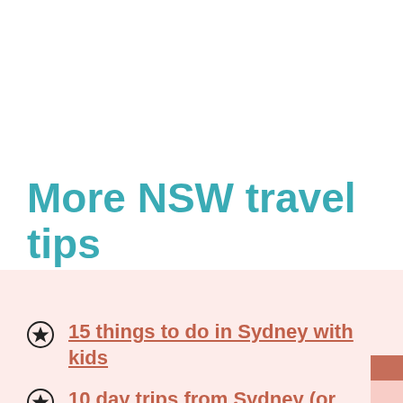More NSW travel tips
15 things to do in Sydney with kids
10 day trips from Sydney (or weekend getaways)